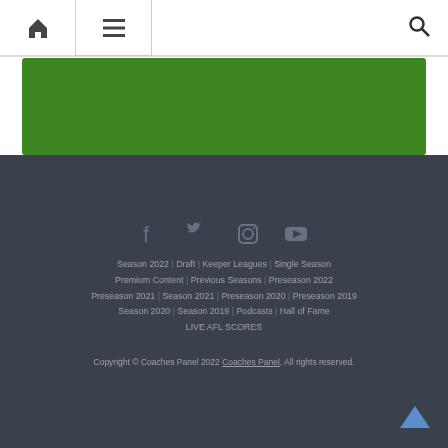Home | Menu | Search
[Figure (other): Green banner/advertisement area]
Season 2022 | Draft | Keeper Leagues | Single Season | Premium Content | Previous Seasons | Preseason 2022 | Preseason 2021 | Season 2021 | Preseason 2020 | Preseason 2019 | Season 2020 | Season 2019 | Podcasts | Hall of Fame | LIVE AFL SCORES
Copyright © Coaches Panel 2022 Coaches Panel. All rights reserved.